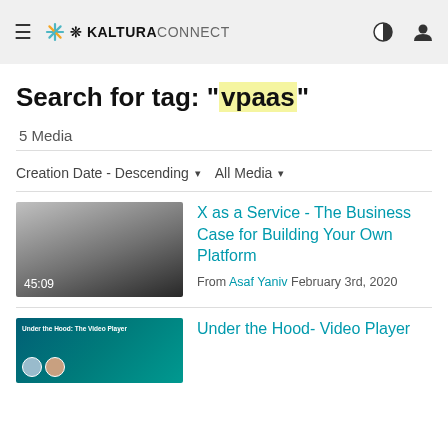KALTURA CONNECT
Search for tag: "vpaas"
5 Media
Creation Date - Descending  All Media
[Figure (screenshot): Video thumbnail showing dark gray gradient with duration 45:09]
X as a Service - The Business Case for Building Your Own Platform
From Asaf Yaniv February 3rd, 2020
[Figure (screenshot): Video thumbnail for Under the Hood: The Video Player, teal/dark background with two avatar images]
Under the Hood- Video Player